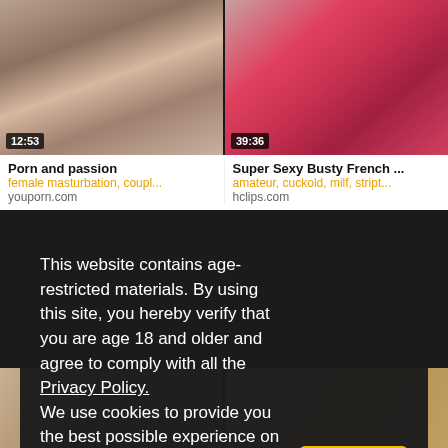[Figure (screenshot): Video thumbnail left: intimate scene, duration 12:53]
[Figure (screenshot): Video thumbnail right: intimate scene in red, duration 39:36]
Porn and passion
female masturbation, coupl...
youporn.com
Super Sexy Busty French ...
amateur, cuckold, milf, stript...
hclips.com
This website contains age-restricted materials. By using this site, you hereby verify that you are age 18 and older and agree to comply with all the Privacy Policy.
We use cookies to provide you the best possible experience on our website and to monitor website traffic. Cookies Policy.
[Figure (screenshot): Partially visible thumbnail bottom left]
[Figure (screenshot): Partially visible thumbnail bottom right]